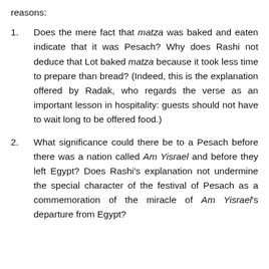reasons:
Does the mere fact that matza was baked and eaten indicate that it was Pesach? Why does Rashi not deduce that Lot baked matza because it took less time to prepare than bread? (Indeed, this is the explanation offered by Radak, who regards the verse as an important lesson in hospitality: guests should not have to wait long to be offered food.)
What significance could there be to a Pesach before there was a nation called Am Yisrael and before they left Egypt? Does Rashi's explanation not undermine the special character of the festival of Pesach as a commemoration of the miracle of Am Yisrael's departure from Egypt?